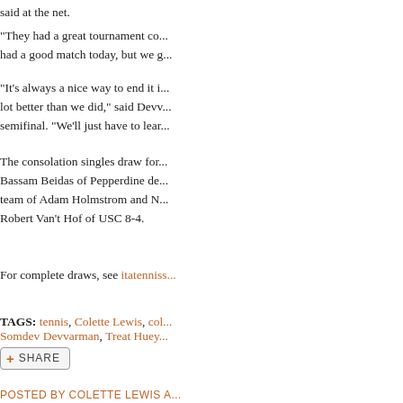said at the net.
"They had a great tournament co... had a good match today, but we g...
"It's always a nice way to end it i... lot better than we did," said Devv... semifinal. "We'll just have to lear...
The consolation singles draw for... Bassam Beidas of Pepperdine de... team of Adam Holmstrom and N... Robert Van't Hof of USC 8-4.
For complete draws, see itatenniss...
TAGS: tennis, Colette Lewis, col... Somdev Devvarman, Treat Huey...
[Figure (other): Share button with plus icon and SHARE text]
POSTED BY COLETTE LEWIS A...